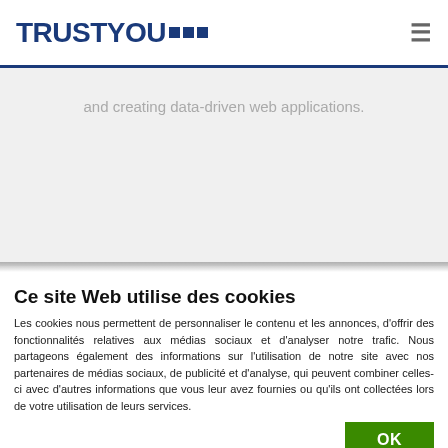TRUSTYOU [logo with navigation hamburger menu]
and creating data-driven web applications.
Ce site Web utilise des cookies
Les cookies nous permettent de personnaliser le contenu et les annonces, d'offrir des fonctionnalités relatives aux médias sociaux et d'analyser notre trafic. Nous partageons également des informations sur l'utilisation de notre site avec nos partenaires de médias sociaux, de publicité et d'analyse, qui peuvent combiner celles-ci avec d'autres informations que vous leur avez fournies ou qu'ils ont collectées lors de votre utilisation de leurs services.
OK
| Nécessaires | Préférences | Afficher les détails |
| --- | --- | --- |
| ✓ Nécessaires | Préférences | Afficher les détails ∨ |
| Statistiques | Marketing |  |